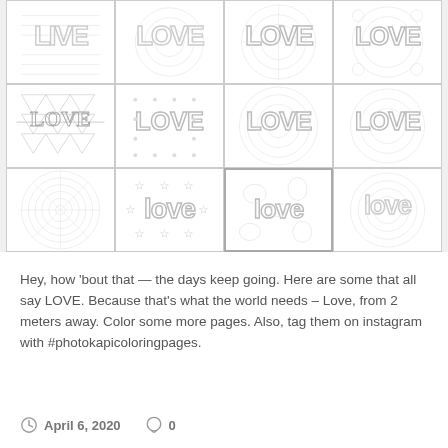[Figure (illustration): Grid of 12 coloring page thumbnails showing various 'LOVE' themed designs with patterns like triangles, spirals, stars, circles, and decorative lettering, arranged in 3 rows of 4 columns.]
Hey, how 'bout that — the days keep going. Here are some that all say LOVE. Because that's what the world needs – Love, from 2 meters away. Color some more pages. Also, tag them on instagram with #photokapicoloringpages.
April 6, 2020   0